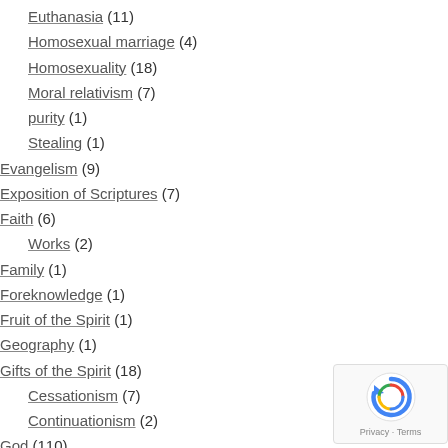Euthanasia (11)
Homosexual marriage (4)
Homosexuality (18)
Moral relativism (7)
purity (1)
Stealing (1)
Evangelism (9)
Exposition of Scriptures (7)
Faith (6)
Works (2)
Family (1)
Foreknowledge (1)
Fruit of the Spirit (1)
Geography (1)
Gifts of the Spirit (18)
Cessationism (7)
Continuationism (2)
God (110)